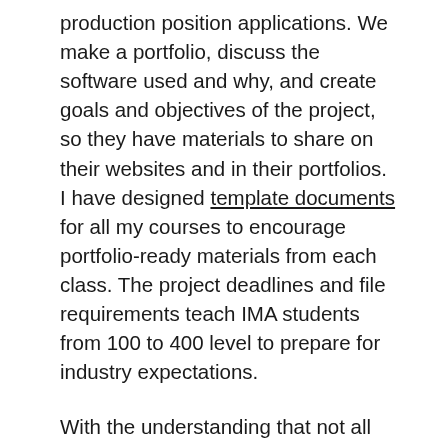production position applications. We make a portfolio, discuss the software used and why, and create goals and objectives of the project, so they have materials to share on their websites and in their portfolios. I have designed template documents for all my courses to encourage portfolio-ready materials from each class. The project deadlines and file requirements teach IMA students from 100 to 400 level to prepare for industry expectations.
With the understanding that not all students learn the same way, I make accommodations and meet the students where they are. Teaching with multiple instruction formats allows all students to engage in the content being shared. At the start of the semester, I complete online surveys to determine what students are coming into the class with. Later I prepare lectures and demonstrations with the topics missing most at the start of the semester. I am sure to build in discussion time